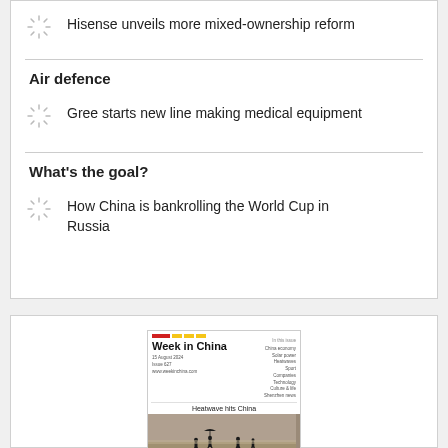Hisense unveils more mixed-ownership reform
Air defence
Gree starts new line making medical equipment
What's the goal?
How China is bankrolling the World Cup in Russia
[Figure (photo): Magazine cover of 'Week in China' with headline 'Heatwave hits China' and a photo of people walking on cracked dry earth]